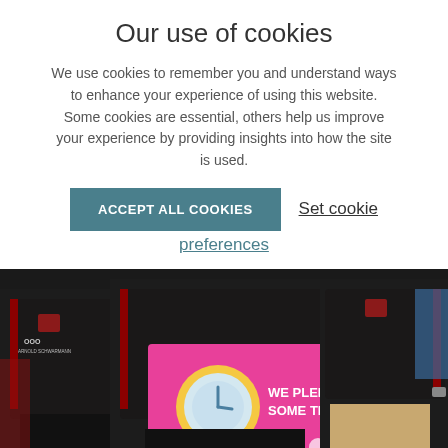Our use of cookies
We use cookies to remember you and understand ways to enhance your experience of using this website. Some cookies are essential, others help us improve your experience by providing insights into how the site is used.
ACCEPT ALL COOKIES
Set cookie preferences
[Figure (photo): Three men wearing black rugby/sports shirts with red trim holding a pink sign that reads 'WE PLEDGED SOME TIME!']